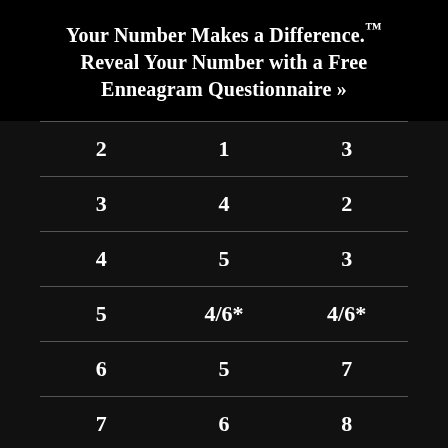Your Number Makes a Difference.™ Reveal Your Number with a Free Enneagram Questionnaire »
| 2 | 1 | 3 |
| 3 | 4 | 2 |
| 4 | 5 | 3 |
| 5 | 4/6* | 4/6* |
| 6 | 5 | 7 |
| 7 | 6 | 8 |
| 8 | 9 | 7 |